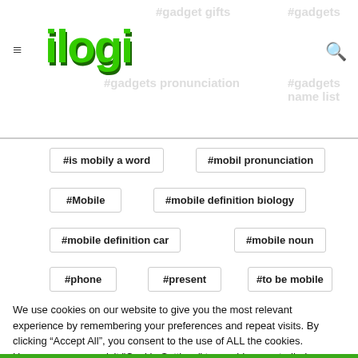ilogi — navigation header with hamburger menu and search icon
#is mobily a word
#mobil pronunciation
#Mobile
#mobile definition biology
#mobile definition car
#mobile noun
#phone
#present
#to be mobile
We use cookies on our website to give you the most relevant experience by remembering your preferences and repeat visits. By clicking "Accept All", you consent to the use of ALL the cookies. However, you may visit "Cookie Settings" to provide a controlled consent.
Cookie Settings | Accept All